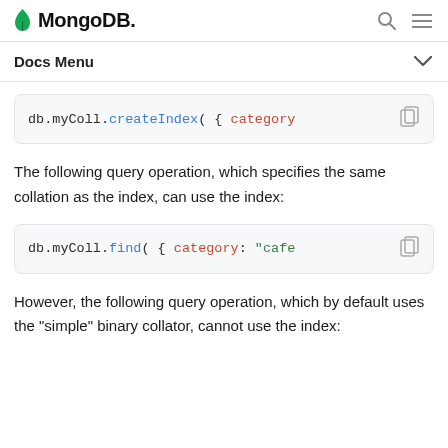MongoDB
Docs Menu
[Figure (screenshot): Code block showing: db.myColl.createIndex( { category]
The following query operation, which specifies the same collation as the index, can use the index:
[Figure (screenshot): Code block showing: db.myColl.find( { category: "cafe]
However, the following query operation, which by default uses the "simple" binary collator, cannot use the index: